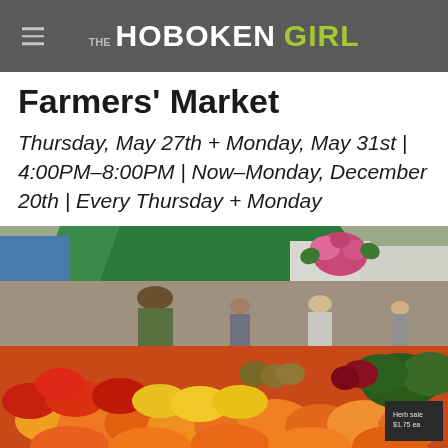THE HOBOKEN GIRL
Farmers' Market
Thursday, May 27th + Monday, May 31st | 4:00PM–8:00PM | Now–Monday, December 20th | Every Thursday + Monday
[Figure (photo): Outdoor farmers market scene with colorful bell peppers (red, yellow, orange) and other produce in foreground, people browsing stalls under green tent canopy in background, flowers and greenery visible]